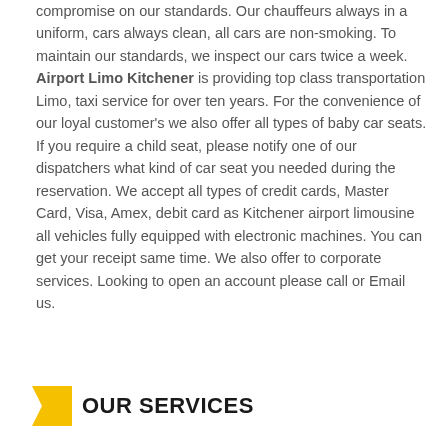compromise on our standards. Our chauffeurs always in a uniform, cars always clean, all cars are non-smoking. To maintain our standards, we inspect our cars twice a week. Airport Limo Kitchener is providing top class transportation Limo, taxi service for over ten years. For the convenience of our loyal customer's we also offer all types of baby car seats. If you require a child seat, please notify one of our dispatchers what kind of car seat you needed during the reservation. We accept all types of credit cards, Master Card, Visa, Amex, debit card as Kitchener airport limousine all vehicles fully equipped with electronic machines. You can get your receipt same time. We also offer to corporate services. Looking to open an account please call or Email us.
OUR SERVICES